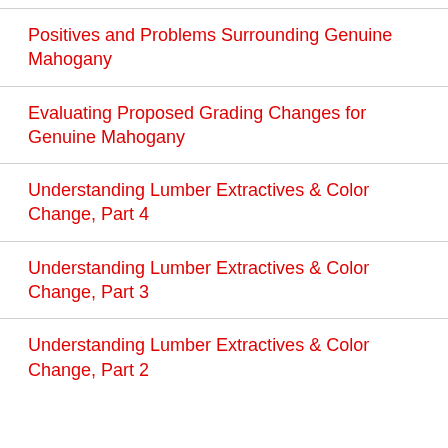Positives and Problems Surrounding Genuine Mahogany
Evaluating Proposed Grading Changes for Genuine Mahogany
Understanding Lumber Extractives & Color Change, Part 4
Understanding Lumber Extractives & Color Change, Part 3
Understanding Lumber Extractives & Color Change, Part 2